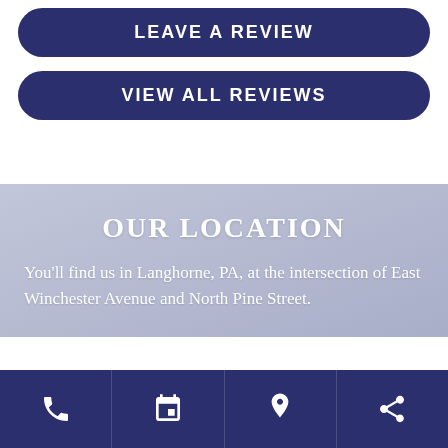LEAVE A REVIEW
VIEW ALL REVIEWS
OUR LOCATION
You'll find us in Langhorne, PA, at the intersection of East Winchester Avenue and North Pine Street.
[Figure (infographic): Footer navigation bar with four icons: phone, calendar, map pin, and share]